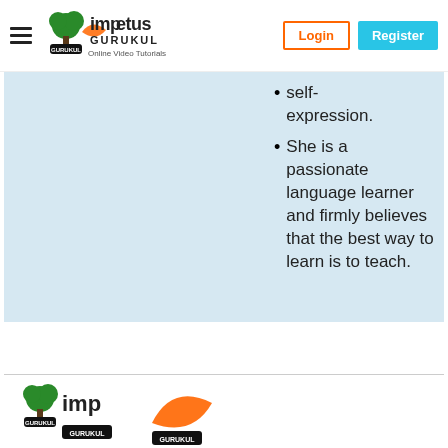Impetus Gurukul — Online Video Tutorials | Login | Register
self-expression.
She is a passionate language learner and firmly believes that the best way to learn is to teach.
[Figure (logo): Impetus Gurukul logo bottom partial]
[Figure (logo): Impetus Gurukul orange swoosh logo bottom partial]